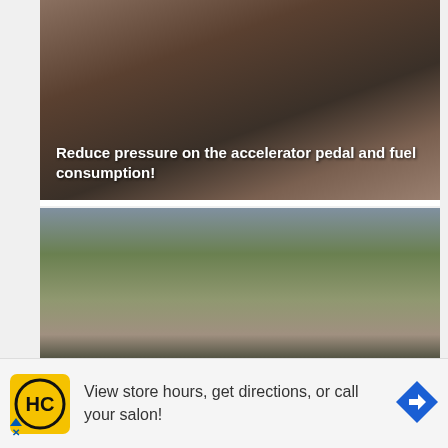[Figure (photo): Close-up photo of a hand holding a fuel pump nozzle, with text overlay about reducing fuel consumption.]
Reduce pressure on the accelerator pedal and fuel consumption!
[Figure (photo): Photo of a Saab 900 with a camper attachment at an outdoor event, with crowds watching. Text overlay reads 'Saab 900 with Camper That Goes Exclusively in Reverse'.]
Saab 900 with Camper That Goes Exclusively in Reverse
[Figure (photo): Partially visible photo of a street scene with trees and buildings, partially cropped at the bottom of the content area.]
[Figure (infographic): Advertisement banner: HC logo on yellow background, text 'View store hours, get directions, or call your salon!' with a blue navigation arrow icon.]
View store hours, get directions, or call your salon!